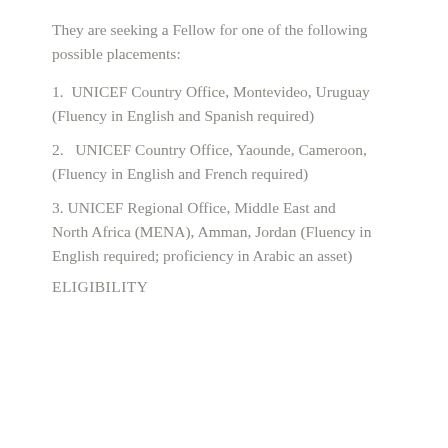They are seeking a Fellow for one of the following possible placements:
1.  UNICEF Country Office, Montevideo, Uruguay (Fluency in English and Spanish required)
2.   UNICEF Country Office, Yaounde, Cameroon, (Fluency in English and French required)
3. UNICEF Regional Office, Middle East and North Africa (MENA), Amman, Jordan (Fluency in English required; proficiency in Arabic an asset)
ELIGIBILITY